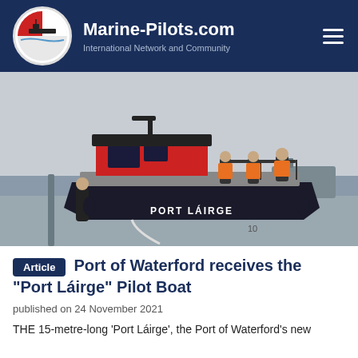Marine-Pilots.com — International Network and Community
[Figure (photo): Four people standing on and beside a black and red pilot boat named 'PORT LÁIRGE' docked at a harbour. Three people in orange hi-vis vests stand on the boat's upper deck, one person in dark clothing stands on the dock below.]
Article  Port of Waterford receives the "Port Láirge" Pilot Boat
published on 24 November 2021
THE 15-metre-long 'Port Láirge', the Port of Waterford's new